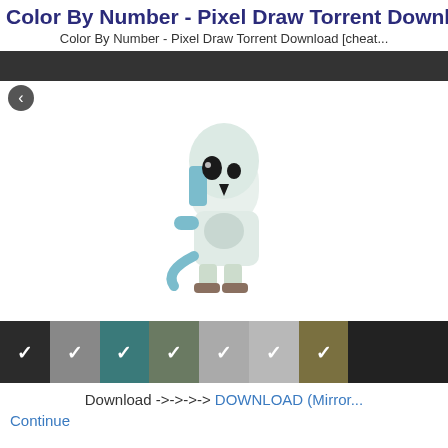Color By Number - Pixel Draw Torrent Download [che...
Color By Number - Pixel Draw Torrent Download [cheat...
[Figure (illustration): Pixel art of a ghost-like creature with blue and white coloring, standing upright with legs and a tail on a white background]
[Figure (infographic): Color swatches row showing 7 colored squares with white checkmarks: black, gray, teal, sage green, light gray, lighter gray, olive/dark yellow, and a dark right section]
Download ->->->-> DOWNLOAD (Mirror...
Continue